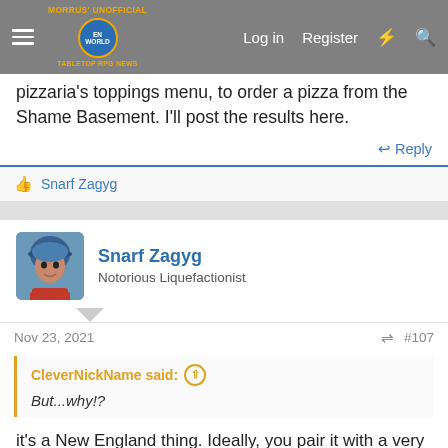Morrus' Unofficial Tabletop RPG News — Log in  Register
pizzaria's toppings menu, to order a pizza from the Shame Basement. I'll post the results here.
↩ Reply
👍 Snarf Zagyg
Snarf Zagyg — Notorious Liquefactionist
Nov 23, 2021  #107
CleverNickName said: ↑
But...why!?
it's a New England thing. Ideally, you pair it with a very